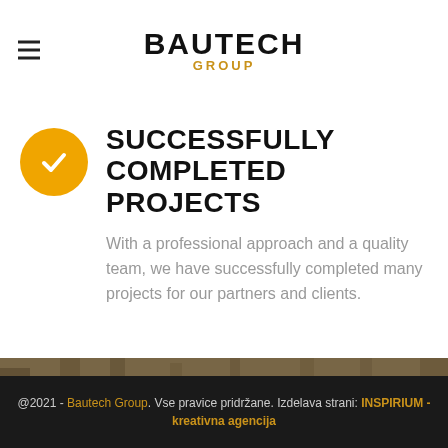BAUTECH GROUP
SUCCESSFULLY COMPLETED PROJECTS
With a professional approach and a quality team, we have successfully completed many projects for our partners and clients.
[Figure (photo): Construction site photo with yellow hard hat and rolled blueprints/drawings on a surface]
@2021 - Bautech Group. Vse pravice pridržane. Izdelava strani: INSPIRIUM - kreativna agencija